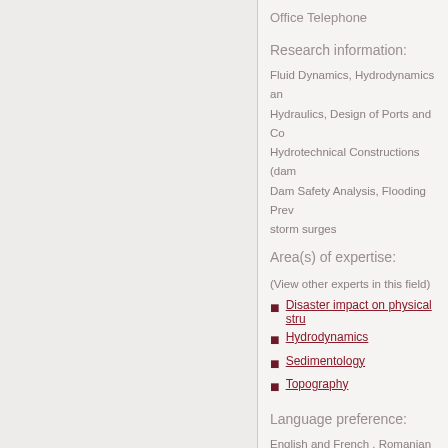Office Telephone
Research information:
Fluid Dynamics, Hydrodynamics and Hydraulics, Design of Ports and Co… Hydrotechnical Constructions (dam… Dam Safety Analysis, Flooding Pre… storm surges
Area(s) of expertise:
(View other experts in this field)
Disaster impact on physical str…
Hydrodynamics
Sedimentology
Topography
Language preference:
English and French , Romanian
PILECHI, Vahid »